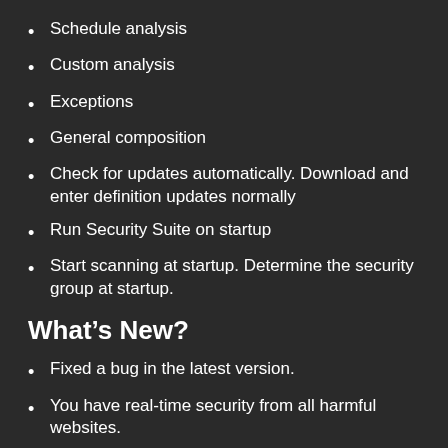Schedule analysis
Custom analysis
Exceptions
General composition
Check for updates automatically. Download and enter definition updates normally
Run Security Suite on startup
Start scanning at startup. Determine the security group at startup.
What’s New?
Fixed a bug in the latest version.
You have real-time security from all harmful websites.
Alternatives to advanced comprehensive exams.
Latest updates: SpyHunter 2019 adaptation is ready.
A minor bug has been fixed.